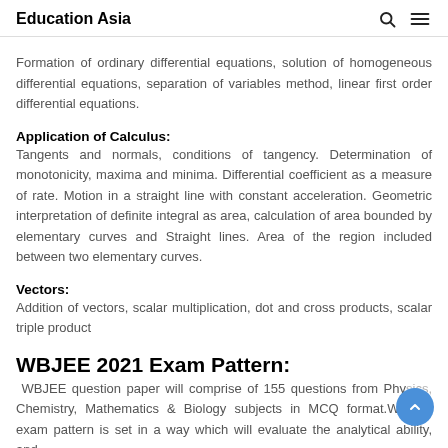Education Asia
Formation of ordinary differential equations, solution of homogeneous differential equations, separation of variables method, linear first order differential equations.
Application of Calculus:
Tangents and normals, conditions of tangency. Determination of monotonicity, maxima and minima. Differential coefficient as a measure of rate. Motion in a straight line with constant acceleration. Geometric interpretation of definite integral as area, calculation of area bounded by elementary curves and Straight lines. Area of the region included between two elementary curves.
Vectors:
Addition of vectors, scalar multiplication, dot and cross products, scalar triple product
WBJEE 2021 Exam Pattern:
WBJEE question paper will comprise of 155 questions from Physics, Chemistry, Mathematics & Biology subjects in MCQ format.WBJEE exam pattern is set in a way which will evaluate the analytical ability, and